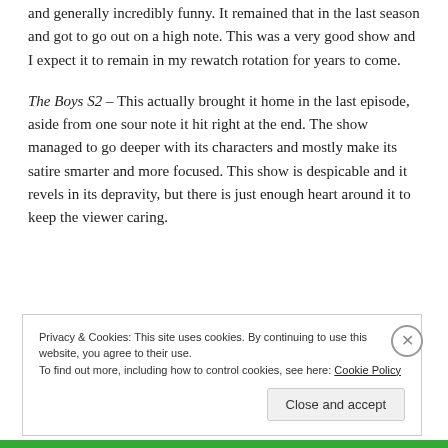and generally incredibly funny. It remained that in the last season and got to go out on a high note. This was a very good show and I expect it to remain in my rewatch rotation for years to come.
The Boys S2 – This actually brought it home in the last episode, aside from one sour note it hit right at the end. The show managed to go deeper with its characters and mostly make its satire smarter and more focused. This show is despicable and it revels in its depravity, but there is just enough heart around it to keep the viewer caring.
Privacy & Cookies: This site uses cookies. By continuing to use this website, you agree to their use.
To find out more, including how to control cookies, see here: Cookie Policy
Close and accept